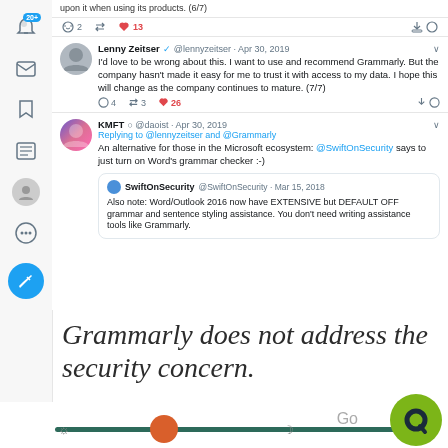[Figure (screenshot): Screenshot of Twitter interface showing tweets from Lenny Zeitser and KMFT about Grammarly security concerns, with sidebar navigation icons]
Grammarly does not address the security concern.
[Figure (screenshot): Bottom UI bar with dark/light mode toggle slider, Go label, and Quora green circular button]